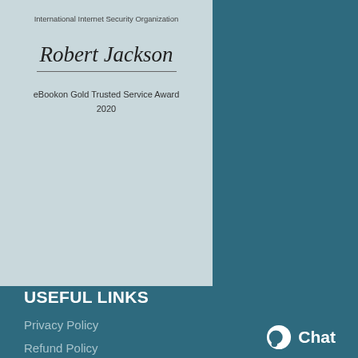[Figure (illustration): Certificate image with light blue background showing 'International Internet Security Organization', cursive signature 'Robert Jackson', and text 'eBookon Gold Trusted Service Award 2020']
USEFUL LINKS
Privacy Policy
Refund Policy
Terms & Conditions
Contact Us
Latest News
Our Sitemap
WEBSITE LINKS
Chat